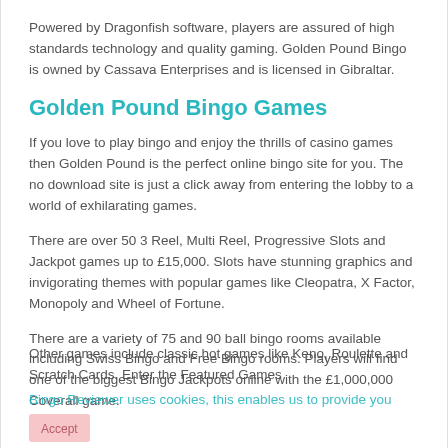Powered by Dragonfish software, players are assured of high standards technology and quality gaming. Golden Pound Bingo is owned by Cassava Enterprises and is licensed in Gibraltar.
Golden Pound Bingo Games
If you love to play bingo and enjoy the thrills of casino games then Golden Pound is the perfect online bingo site for you. The no download site is just a click away from entering the lobby to a world of exhilarating games.
There are over 50 3 Reel, Multi Reel, Progressive Slots and Jackpot games up to £15,000. Slots have stunning graphics and invigorating themes with popular games like Cleopatra, X Factor, Monopoly and Wheel of Fortune.
There are a variety of 75 and 90 ball bingo rooms available including Swiss Bingo and Free Bingo rooms. Players will find one of the biggest Bingo Jackpots online with the £1,000,000 Coverall game.
Other games include classic hot games like Keno, Roulette and Scratch Cards. Enter the Featured Games
Bingo Reviewer uses cookies, this enables us to provide you